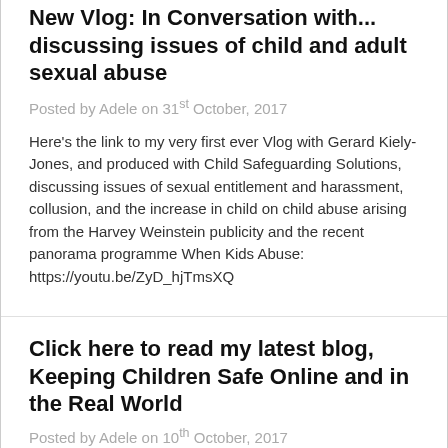New Vlog: In Conversation with... discussing issues of child and adult sexual abuse
Posted by Adele on 31st October, 2017
Here's the link to my very first ever Vlog with Gerard Kiely-Jones, and produced with Child Safeguarding Solutions, discussing issues of sexual entitlement and harassment, collusion, and the increase in child on child abuse arising from the Harvey Weinstein publicity and the recent panorama programme When Kids Abuse: https://youtu.be/ZyD_hjTmsXQ
Click here to read my latest blog, Keeping Children Safe Online and in the Real World
Posted by Adele on 10th October, 2017